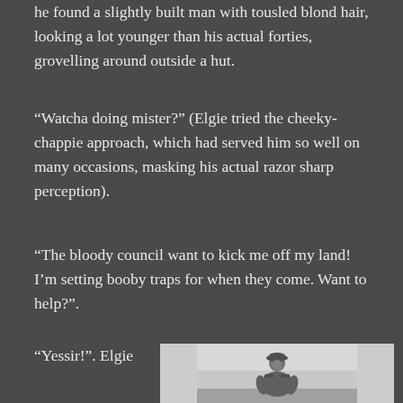he found a slightly built man with tousled blond hair, looking a lot younger than his actual forties, grovelling around outside a hut.
“Watcha doing mister?” (Elgie tried the cheeky-chappie approach, which had served him so well on many occasions, masking his actual razor sharp perception).
“The bloody council want to kick me off my land! I’m setting booby traps for when they come. Want to help?”.
“Yessir!”. Elgie
[Figure (photo): Black and white photograph of a man in military uniform and cap, seated, viewed from the side/front]